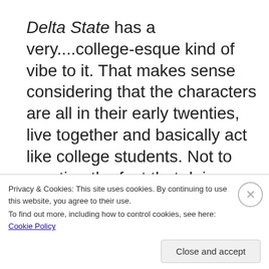Delta State has a very....college-esque kind of vibe to it. That makes sense considering that the characters are all in their early twenties, live together and basically act like college students. Not to mention the fact that doing a Google search on this title results in mostly colleges.
Privacy & Cookies: This site uses cookies. By continuing to use this website, you agree to their use. To find out more, including how to control cookies, see here: Cookie Policy